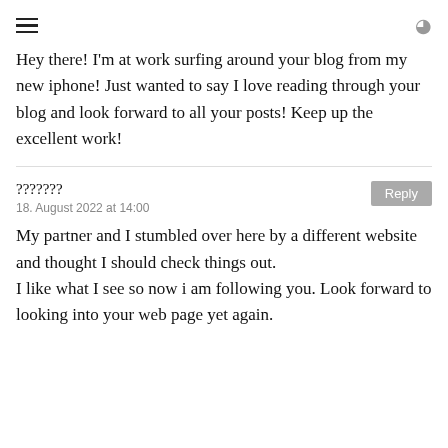☰  🔍
Hey there! I'm at work surfing around your blog from my new iphone! Just wanted to say I love reading through your blog and look forward to all your posts! Keep up the excellent work!
???????
18. August 2022 at 14:00
My partner and I stumbled over here by a different website and thought I should check things out.
I like what I see so now i am following you. Look forward to looking into your web page yet again.